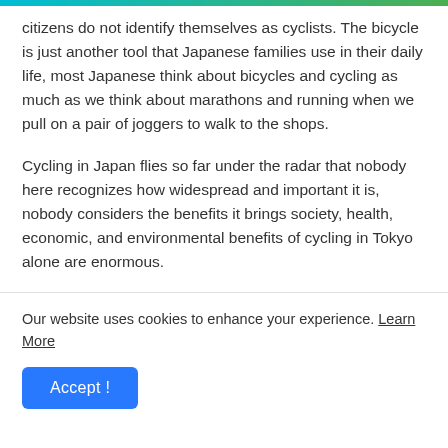citizens do not identify themselves as cyclists. The bicycle is just another tool that Japanese families use in their daily life, most Japanese think about bicycles and cycling as much as we think about marathons and running when we pull on a pair of joggers to walk to the shops.
Cycling in Japan flies so far under the radar that nobody here recognizes how widespread and important it is, nobody considers the benefits it brings society, health, economic, and environmental benefits of cycling in Tokyo alone are enormous.
Our website uses cookies to enhance your experience. Learn More
Accept !